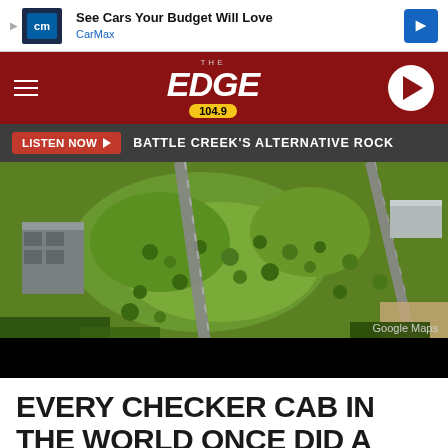[Figure (screenshot): CarMax advertisement banner: logo with 'cm' text, 'See Cars Your Budget Will Love', 'CarMax' text, and blue navigation arrow icon]
[Figure (logo): The Edge 104.9 radio station logo on dark red/maroon header with hamburger menu on left and play button on right]
LISTEN NOW ▶  BATTLE CREEK'S ALTERNATIVE ROCK
[Figure (photo): Aerial Google Maps view of a large green field/lot with roads, trees, a grey building on the left, and another building on the right]
Google Maps
EVERY CHECKER CAB IN THE WORLD ONCE DID A LOOP ON